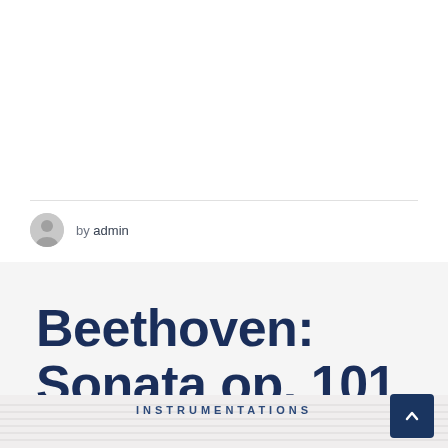by admin
Beethoven: Sonata op. 101
INSTRUMENTATIONS